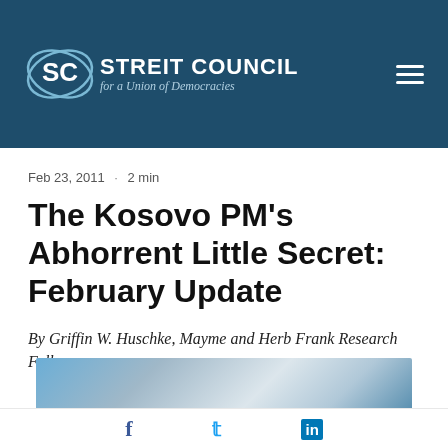Streit Council for a Union of Democracies
Feb 23, 2011 · 2 min
The Kosovo PM's Abhorrent Little Secret: February Update
By Griffin W. Huschke, Mayme and Herb Frank Research Fellow
[Figure (photo): Blurred photo strip at the bottom of the article preview]
Social share icons: Facebook, Twitter, LinkedIn